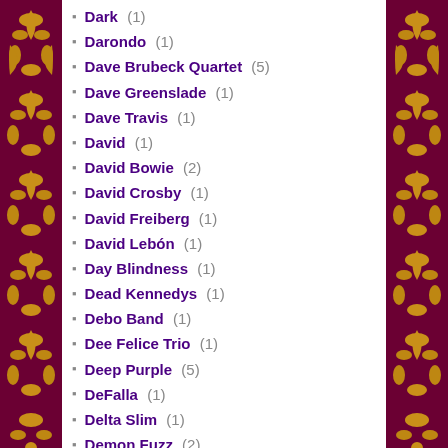Dark (1)
Darondo (1)
Dave Brubeck Quartet (5)
Dave Greenslade (1)
Dave Travis (1)
David (1)
David Bowie (2)
David Crosby (1)
David Freiberg (1)
David Lebón (1)
Day Blindness (1)
Dead Kennedys (1)
Debo Band (1)
Dee Felice Trio (1)
Deep Purple (5)
DeFalla (1)
Delta Slim (1)
Demon Fuzz (2)
Denise Assunção (1)
Dennis Coffey (5)
Derek & The Dominos (2)